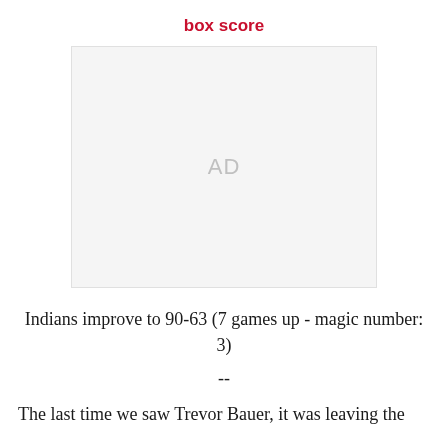box score
[Figure (other): Advertisement placeholder box with 'AD' label in light gray]
Indians improve to 90-63 (7 games up - magic number: 3)
--
The last time we saw Trevor Bauer, it was leaving the